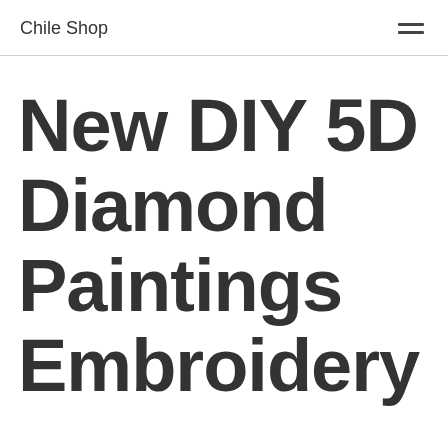Chile Shop
New DIY 5D Diamond Paintings Embroidery